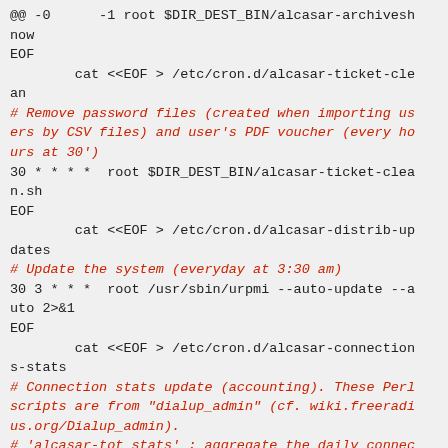Code block showing shell script content with cron job setup for alcasar ticket-clean, distrib-updates, and connections-stats cron entries.